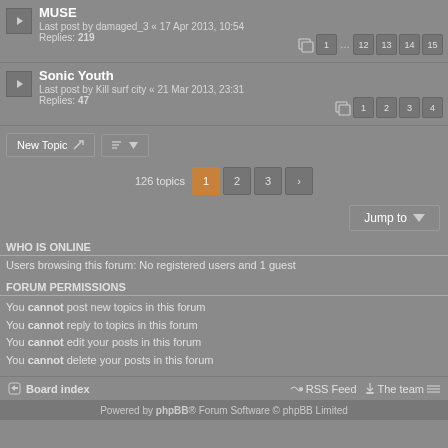MUSE - Last post by damaged_3 « 17 Apr 2013, 10:54 - Replies: 219
Sonic Youth - Last post by Kill surf city « 21 Mar 2013, 23:31 - Replies: 47
126 topics
Users browsing this forum: No registered users and 1 guest
WHO IS ONLINE
FORUM PERMISSIONS
You cannot post new topics in this forum
You cannot reply to topics in this forum
You cannot edit your posts in this forum
You cannot delete your posts in this forum
Board index   RSS Feed   The team   Powered by phpBB® Forum Software © phpBB Limited